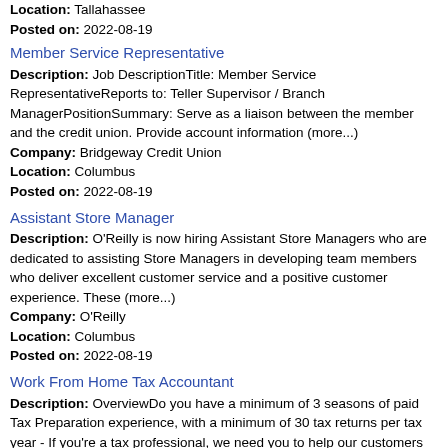Location: Tallahassee
Posted on: 2022-08-19
Member Service Representative
Description: Job DescriptionTitle: Member Service RepresentativeReports to: Teller Supervisor / Branch ManagerPositionSummary: Serve as a liaison between the member and the credit union. Provide account information (more...)
Company: Bridgeway Credit Union
Location: Columbus
Posted on: 2022-08-19
Assistant Store Manager
Description: O'Reilly is now hiring Assistant Store Managers who are dedicated to assisting Store Managers in developing team members who deliver excellent customer service and a positive customer experience. These (more...)
Company: O'Reilly
Location: Columbus
Posted on: 2022-08-19
Work From Home Tax Accountant
Description: OverviewDo you have a minimum of 3 seasons of paid Tax Preparation experience, with a minimum of 30 tax returns per tax year - If you're a tax professional, we need you to help our customers complete (more...)
Company: charles river